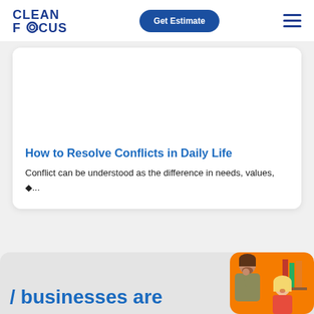[Figure (logo): Clean Focus logo — bold dark blue text reading CLEAN FOCUS with an @ symbol replacing the O in FOCUS]
Get Estimate
How to Resolve Conflicts in Daily Life
Conflict can be understood as the difference in needs, values, ◆...
/ businesses are
[Figure (illustration): Cartoon illustration of two people in a workplace conflict scenario — a man in olive shirt looking thoughtful and a blonde woman, with an orange background and bookshelf]